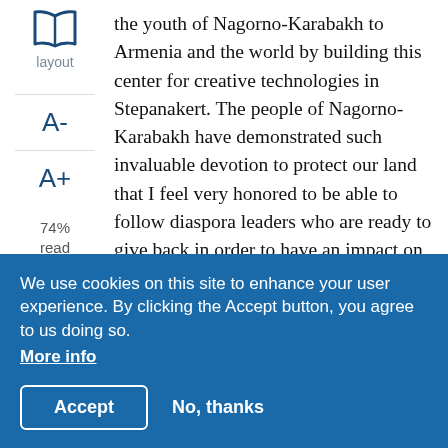[Figure (illustration): Open book icon in blue outline style, above the word 'layout']
layout
A-
A+
74%
read
the youth of Nagorno-Karabakh to Armenia and the world by building this center for creative technologies in Stepanakert. The people of Nagorno-Karabakh have demonstrated such invaluable devotion to protect our land that I feel very honored to be able to follow diaspora leaders who are ready to give back in order to have an impact on the lives and the future generations in the region.
How has your Armenian heritage influenced your life? I see my Armenian heritage as a set of values that I am honored to carry with me as a
We use cookies on this site to enhance your user experience. By clicking the Accept button, you agree to us doing so. More info
Accept
No, thanks